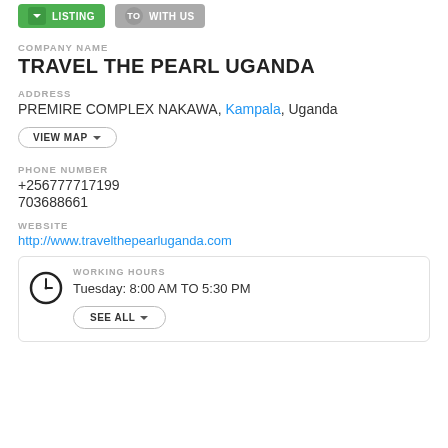LISTING | WITH US
COMPANY NAME
TRAVEL THE PEARL UGANDA
ADDRESS
PREMIRE COMPLEX NAKAWA, Kampala, Uganda
VIEW MAP
PHONE NUMBER
+256777717199
703688661
WEBSITE
http://www.travelthepearluganda.com
WORKING HOURS
Tuesday: 8:00 AM TO 5:30 PM
SEE ALL